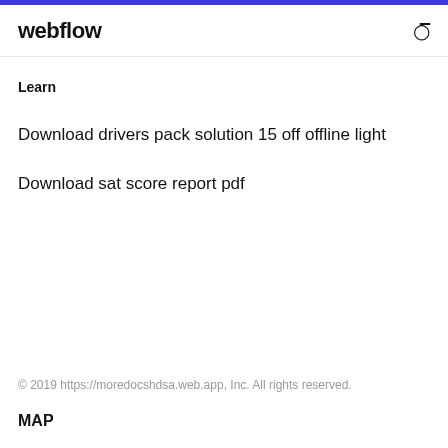webflow
Learn
Download drivers pack solution 15 off offline light
Download sat score report pdf
© 2019 https://moredocshdsa.web.app, Inc. All rights reserved.
MAP